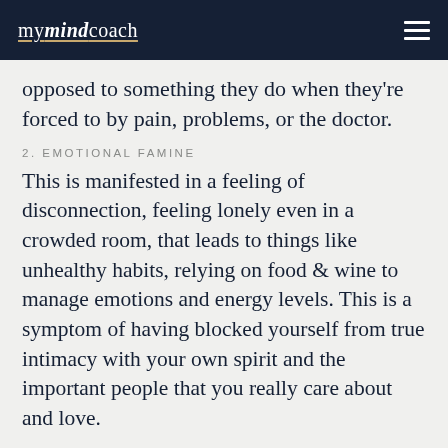mymindcoach
opposed to something they do when they're forced to by pain, problems, or the doctor.
2. EMOTIONAL FAMINE
This is manifested in a feeling of disconnection, feeling lonely even in a crowded room, that leads to things like unhealthy habits, relying on food & wine to manage emotions and energy levels. This is a symptom of having blocked yourself from true intimacy with your own spirit and the important people that you really care about and love.